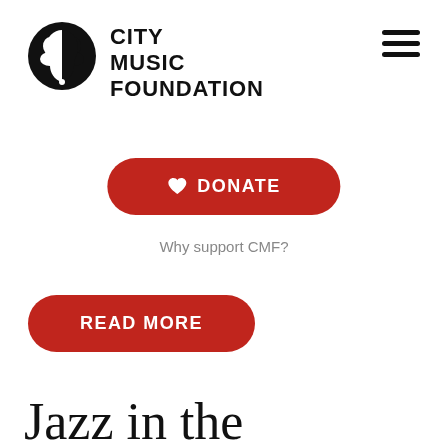[Figure (logo): City Music Foundation logo: circular black icon with two face silhouettes, and bold black text reading CITY MUSIC FOUNDATION]
[Figure (other): Hamburger menu icon (three horizontal black lines) in top-right corner]
♥  DONATE
Why support CMF?
READ MORE
Jazz in the